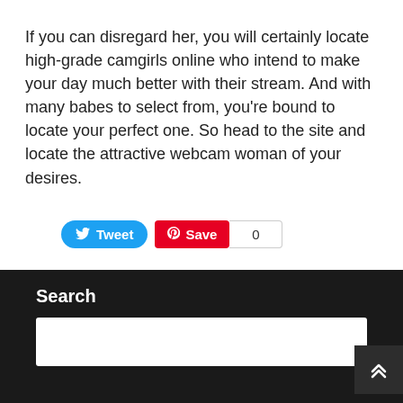If you can disregard her, you will certainly locate high-grade camgirls online who intend to make your day much better with their stream. And with many babes to select from, you're bound to locate your perfect one. So head to the site and locate the attractive webcam woman of your desires.
[Figure (other): Social share buttons: Tweet button (blue with Twitter bird icon) and Save button (red with Pinterest icon) followed by a count of 0]
Search
[Figure (other): Search input box (white rectangle) on dark background footer area]